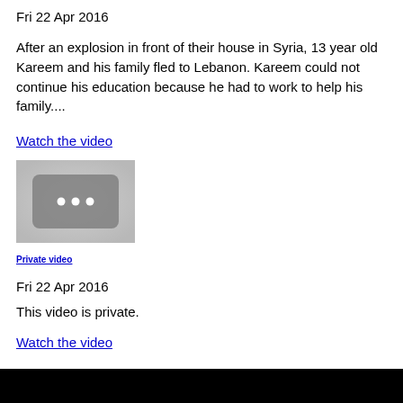Fri 22 Apr 2016
After an explosion in front of their house in Syria, 13 year old Kareem and his family fled to Lebanon. Kareem could not continue his education because he had to work to help his family....
Watch the video
[Figure (screenshot): Video thumbnail placeholder showing a grey background with a dark rounded rectangle containing three white dots in the center]
Private video
Fri 22 Apr 2016
This video is private.
Watch the video
[Figure (screenshot): Black bar at the bottom of the page representing a video player or dark content area]